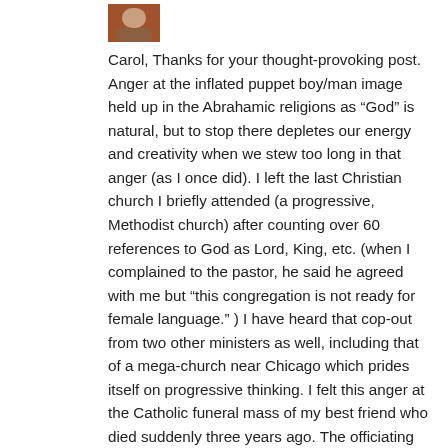[Figure (photo): Small profile photo/avatar thumbnail in upper left area]
Carol, Thanks for your thought-provoking post. Anger at the inflated puppet boy/man image held up in the Abrahamic religions as “God” is natural, but to stop there depletes our energy and creativity when we stew too long in that anger (as I once did). I left the last Christian church I briefly attended (a progressive, Methodist church) after counting over 60 references to God as Lord, King, etc. (when I complained to the pastor, he said he agreed with me but “this congregation is not ready for female language.” ) I have heard that cop-out from two other ministers as well, including that of a mega-church near Chicago which prides itself on progressive thinking. I felt this anger at the Catholic funeral mass of my best friend who died suddenly three years ago. The officiating priest intoned that she was now “born again in Christ” and that we should celebrate this “fact” (her sudden death left her only daughter at three months’ into her first pregnancy, a tragedy in my book). I was the only other person allowed to speak at the mass, and took the opportunity to highlight my friend’s independent thinking and feminist spirituality, and read Alice Walker’s poem, “The Earth is Our Mother, Her Blue Body